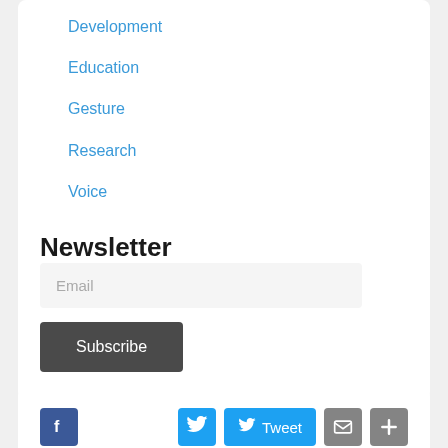Development
Education
Gesture
Research
Voice
Newsletter
Email
Subscribe
[Figure (other): Social share buttons: Facebook, Twitter, Tweet, Email, Plus]